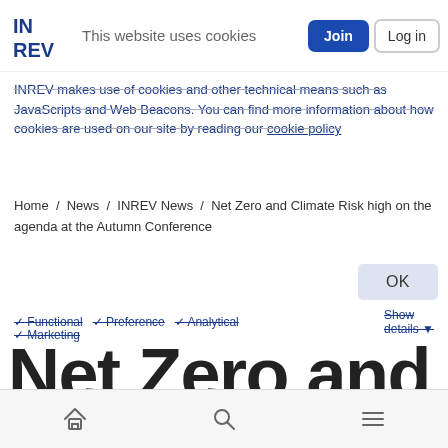INREV logo — navigation bar with Join and Log in buttons
This website uses cookies
INREV makes use of cookies and other technical means such as JavaScripts and Web Beacons. You can find more information about how cookies are used on our site by reading our cookie policy
Home / News / INREV News / Net Zero and Climate Risk high on the agenda at the Autumn Conference
OK
✓ Functional  ✓ Preference  ✓ Analytical  Show details ✓ Marketing
Net Zero and Climate Risk high on the agenda at the Autumn
Home icon | Search icon | Menu icon